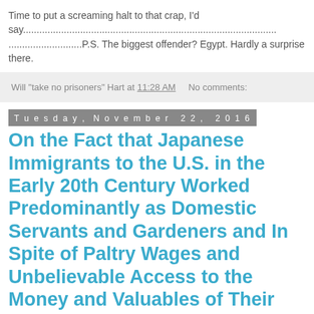Time to put a screaming halt to that crap, I'd say...................................................................................................P.S. The biggest offender? Egypt. Hardly a surprise there.
Will "take no prisoners" Hart at 11:28 AM    No comments:
Tuesday, November 22, 2016
On the Fact that Japanese Immigrants to the U.S. in the Early 20th Century Worked Predominantly as Domestic Servants and Gardeners and In Spite of Paltry Wages and Unbelievable Access to the Money and Valuables of Their Employers Virtually NEVER Pilfered from Them